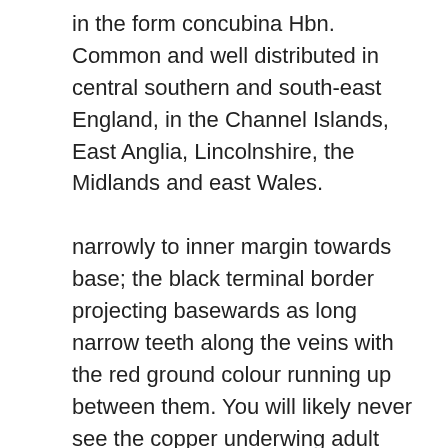in the form concubina Hbn. Common and well distributed in central southern and south-east England, in the Channel Islands, East Anglia, Lincolnshire, the Midlands and east Wales. narrowly to inner margin towards base; the black terminal border projecting basewards as long narrow teeth along the veins with the red ground colour running up between them. You will likely never see the copper underwing adult moth, but you may find the caterpillar eating the leaves of many trees and shrubs, including apple, basswood, hawthorn, maple, … The larvae can be found from May to July feeding at night and hiding under loose bark or in a crevice during the day. C. nupta L. Forewing pale grey